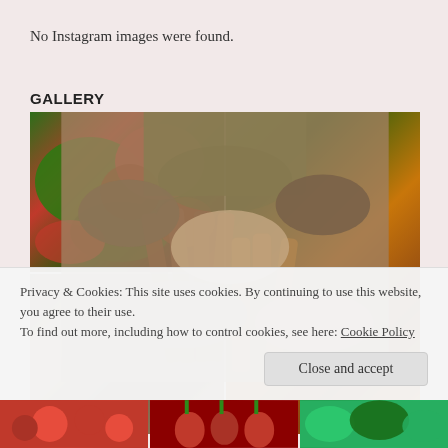No Instagram images were found.
GALLERY
[Figure (photo): Grid of vegetable photos: top-left shows green and red peppers mixed together; top-right/right column shows purple and orange carrots with green tops in a basket; bottom-left shows ginger roots or similar dried roots.]
Privacy & Cookies: This site uses cookies. By continuing to use this website, you agree to their use.
To find out more, including how to control cookies, see here: Cookie Policy
Close and accept
[Figure (photo): Bottom strip showing three small vegetable photos: tomatoes, radishes, and green vegetables.]